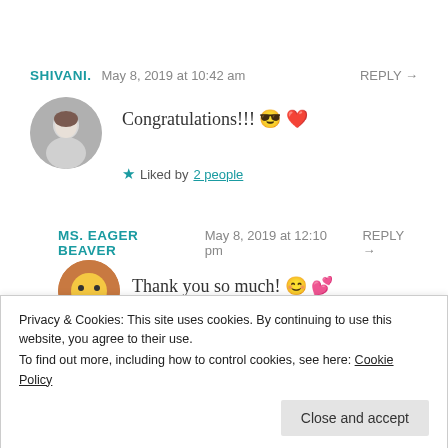SHIVANI.   May 8, 2019 at 10:42 am   REPLY →
[Figure (illustration): Circular avatar photo of a young woman with dark hair, grayscale tones]
Congratulations!!! 😎 ❤
★ Liked by 2 people
MS. EAGER BEAVER   May 8, 2019 at 12:10 pm   REPLY →
[Figure (illustration): Circular avatar with an emoji face on orange/brown background]
Thank you so much! 😊 💕
Privacy & Cookies: This site uses cookies. By continuing to use this website, you agree to their use.
To find out more, including how to control cookies, see here: Cookie Policy
Close and accept